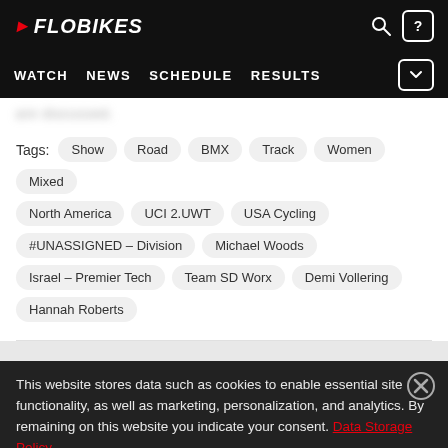FloBikes - WATCH NEWS SCHEDULE RESULTS
are discussed.
Tags: Show Road BMX Track Women Mixed North America UCI 2.UWT USA Cycling #UNASSIGNED - Division Michael Woods Israel - Premier Tech Team SD Worx Demi Vollering Hannah Roberts
This website stores data such as cookies to enable essential site functionality, as well as marketing, personalization, and analytics. By remaining on this website you indicate your consent. Data Storage Policy